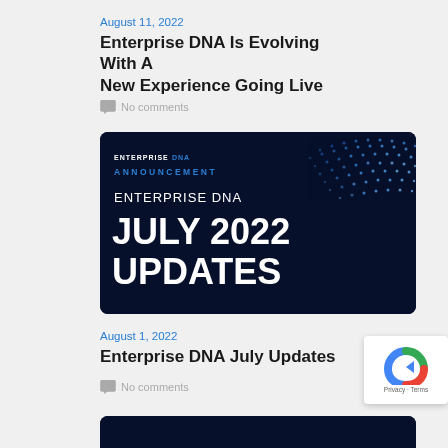August 11, 2022
Enterprise DNA Is Evolving With A New Experience Going Live
No comments
[Figure (illustration): Enterprise DNA Announcement banner showing 'ENTERPRISE DNA JULY 2022 UPDATES' in white bold text on dark navy background with blue light streak graphic on right side]
August 1, 2022
Enterprise DNA July Updates
No comments
[Figure (illustration): Partial view of another Enterprise DNA banner at bottom of page]